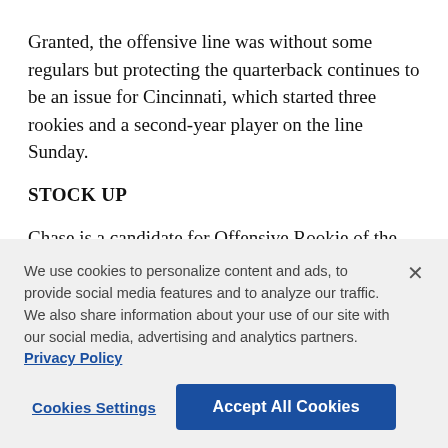Granted, the offensive line was without some regulars but protecting the quarterback continues to be an issue for Cincinnati, which started three rookies and a second-year player on the line Sunday.
STOCK UP
Chase is a candidate for Offensive Rookie of the Year. His 1,455 yards are the most for an NFL rookie in the Super Bowl era. His 81 receptions and 13 touchdowns are the most ever for a Bengals rookie. He finished 18
We use cookies to personalize content and ads, to provide social media features and to analyze our traffic. We also share information about your use of our site with our social media, advertising and analytics partners. Privacy Policy
Cookies Settings    Accept All Cookies